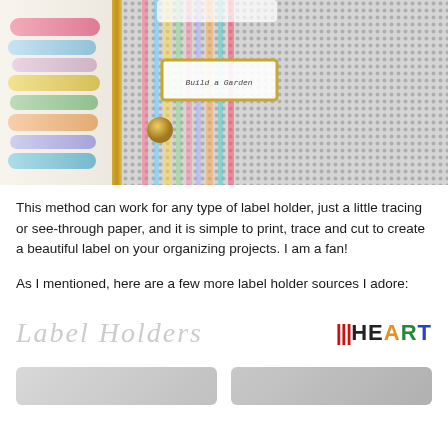[Figure (photo): Close-up photo of a white mesh/perforated metal file organizer with a gold label holder frame. Behind it are shelves with colorful rolls of ribbon and washi tape. The label in the gold frame reads 'Build a Garden' or similar cursive text.]
This method can work for any type of label holder, just a little tracing or see-through paper, and it is simple to print, trace and cut to create a beautiful label on your organizing projects.  I am a fan!
As I mentioned, here are a few more label holder sources I adore:
[Figure (logo): Two logos side by side: 'Label Holders' in light gray cursive/script font on the left, and 'iHEART' logo on the right with colored letters (red bars for 'I', dark for 'H' and 'E', orange for 'A', green for 'R', blue for 'T').]
[Figure (photo): Two small thumbnail product images partially visible at bottom of page.]